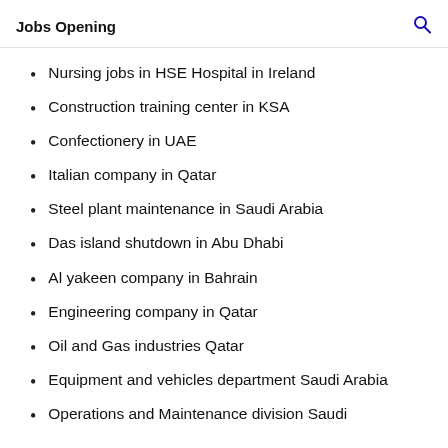Jobs Opening
Nursing jobs in HSE Hospital in Ireland
Construction training center in KSA
Confectionery in UAE
Italian company in Qatar
Steel plant maintenance in Saudi Arabia
Das island shutdown in Abu Dhabi
Al yakeen company in Bahrain
Engineering company in Qatar
Oil and Gas industries Qatar
Equipment and vehicles department Saudi Arabia
Operations and Maintenance division Saudi